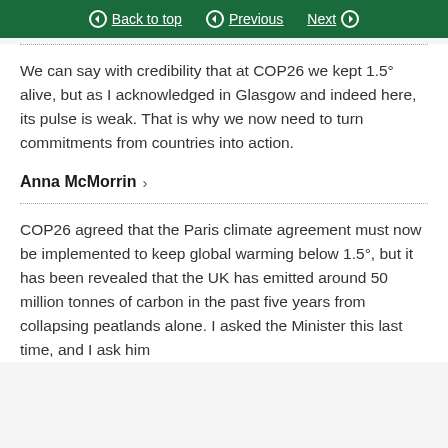Back to top  Previous  Next
We can say with credibility that at COP26 we kept 1.5° alive, but as I acknowledged in Glasgow and indeed here, its pulse is weak. That is why we now need to turn commitments from countries into action.
Anna McMorrin
COP26 agreed that the Paris climate agreement must now be implemented to keep global warming below 1.5°, but it has been revealed that the UK has emitted around 50 million tonnes of carbon in the past five years from collapsing peatlands alone. I asked the Minister this last time, and I ask him